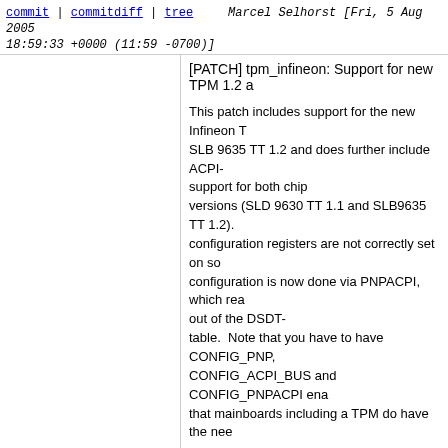commit | commitdiff | tree   Marcel Selhorst [Fri, 5 Aug 2005 18:59:33 +0000 (11:59 -0700)]
[PATCH] tpm_infineon: Support for new TPM 1.2 a

This patch includes support for the new Infineon T SLB 9635 TT 1.2 and does further include ACPI- support for both chip versions (SLD 9630 TT 1.1 and SLB9635 TT 1.2). configuration registers are not correctly set on so configuration is now done via PNPACPI, which rea out of the DSDT- table. Note that you have to have CONFIG_PNP, CONFIG_ACPI_BUS and CONFIG_PNPACPI en that mainboards including a TPM do have the nee

Signed-off-by: Marcel Selhorst <selhorst@crypto.rub.de>
Signed-off-by: Andrew Morton <akpm@osdl.org>
Signed-off-by: Linus Torvalds <torvalds@osdl.org>
17 years ago regressions    [PATCH] REPORTING-BUGS: track
commit | commitdiff | tree   Andrew Morton [Fri, 5 Aug 2005 18:59:32 +0000 (11:59 -0700)]
[PATCH] REPORTING-BUGS: track regressions